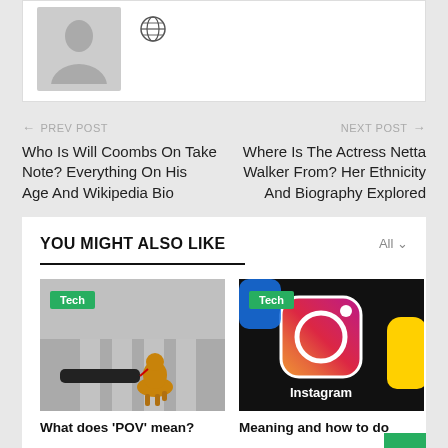[Figure (photo): Gray silhouette avatar placeholder with a globe icon to the right]
← PREV POST
Who Is Will Coombs On Take Note? Everything On His Age And Wikipedia Bio
NEXT POST →
Where Is The Actress Netta Walker From? Her Ethnicity And Biography Explored
YOU MIGHT ALSO LIKE
[Figure (photo): Person holding leash of golden retriever puppy at a pedestrian crosswalk, with a 'Tech' badge]
What does 'POV' mean?
[Figure (photo): Close-up of phone screen showing Instagram and other app icons, with a 'Tech' badge]
Meaning and how to do